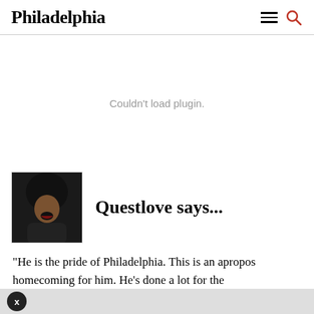Philadelphia
[Figure (other): Couldn't load plugin. (Plugin/embed area showing error message)]
Questlove says...
[Figure (photo): Photo of Questlove, a Black man with a large afro, mouth open, shouting]
“He is the pride of Philadelphia. This is an apropos homecoming for him. He’s done a lot for the